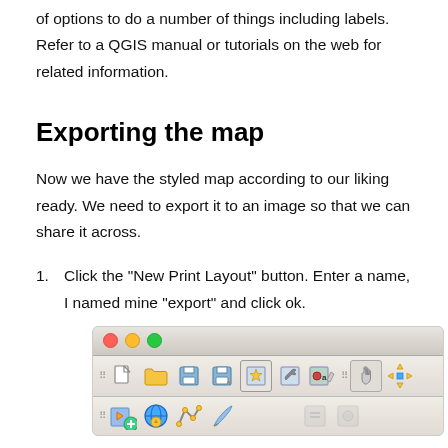of options to do a number of things including labels. Refer to a QGIS manual or tutorials on the web for related information.
Exporting the map
Now we have the styled map according to our liking ready. We need to export it to an image so that we can share it across.
Click the "New Print Layout" button. Enter a name, I named mine "export" and click ok.
[Figure (screenshot): QGIS Print Layout dialog window showing toolbar with file, save, and layout tools. A tooltip reading 'New Print Layout (⌘P)' is visible over the toolbar icon.]